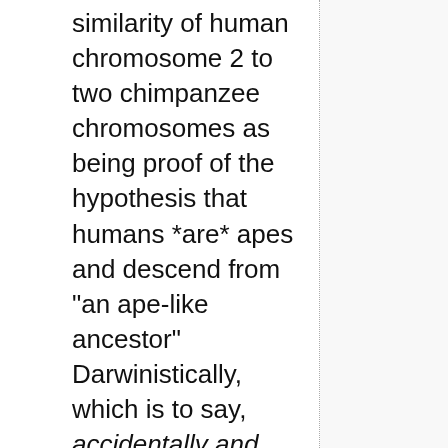similarity of human chromosome 2 to two chimpanzee chromosomes as being proof of the hypothesis that humans *are* apes and descend from "an ape-like ancestor" Darwinistically, which is to say, accidentally and without purpose (and as being disproof of any competing hypotheses) -- while, at the same time, studiously avoiding